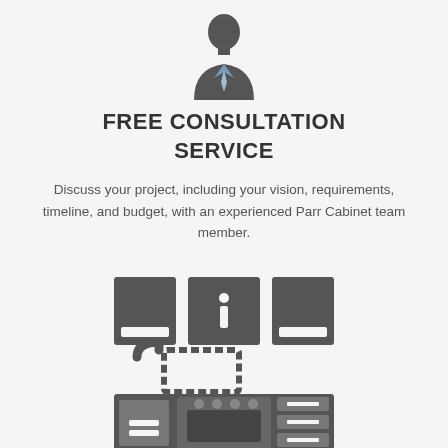[Figure (illustration): Silhouette icon of a business person wearing a suit and tie]
FREE CONSULTATION SERVICE
Discuss your project, including your vision, requirements, timeline, and budget, with an experienced Parr Cabinet team member.
[Figure (illustration): Icons of kitchen cabinets, countertops, sink, faucet, and appliances representing cabinet design/kitchen layout]